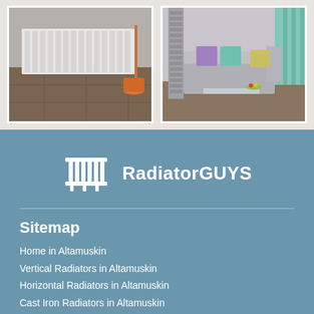[Figure (photo): White horizontal radiator installed on a wall above a brown tiled floor in a room interior]
[Figure (photo): Grey vertical radiator next to a grey sofa with colourful cushions (purple, teal, yellow) in a living room]
[Figure (logo): RadiatorGUYS logo: white radiator icon with text 'RadiatorGUYS' in white on blue-grey background]
Sitemap
Home in Altamuskin
Vertical Radiators in Altamuskin
Horizontal Radiators in Altamuskin
Cast Iron Radiators in Altamuskin
Towel Radiators in Altamuskin
Electric Radiators in Altamuskin